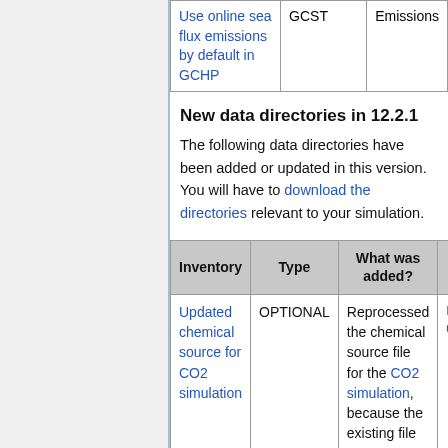| Inventory | Type | What was added? |  |
| --- | --- | --- | --- |
| Use online sea flux emissions by default in GCHP | GCST | Emissions |  |
New data directories in 12.2.1
The following data directories have been added or updated in this version. You will have to download the directories relevant to your simulation.
| Inventory | Type | What was added? |  |
| --- | --- | --- | --- |
| Updated chemical source for CO2 simulation | OPTIONAL | Reprocessed the chemical source file for the CO2 simulation, because the existing file | HB 02 |